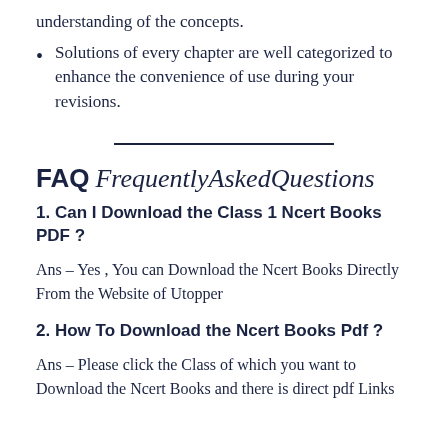understanding of the concepts.
Solutions of every chapter are well categorized to enhance the convenience of use during your revisions.
FAQ FrequentlyAskedQuestions
1. Can I Download the Class 1 Ncert Books PDF ?
Ans – Yes , You can Download the Ncert Books Directly From the Website of Utopper
2. How To Download the Ncert Books Pdf ?
Ans – Please click the Class of which you want to Download the Ncert Books and there is direct pdf Links